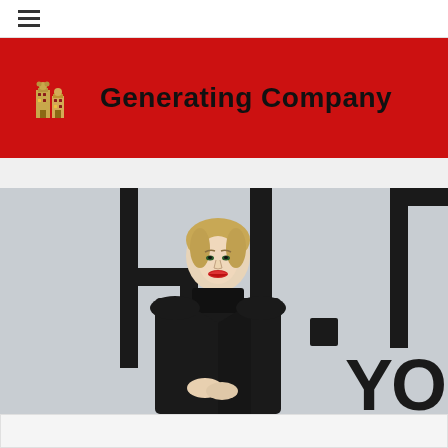Navigation menu (hamburger icon)
Generating Company
[Figure (photo): A blonde woman wearing a black turtleneck blazer, seated in front of a large typographic backdrop with partial letters visible: 'h I .' and 'YO' on the right side. The background is light gray with large bold black letterforms.]